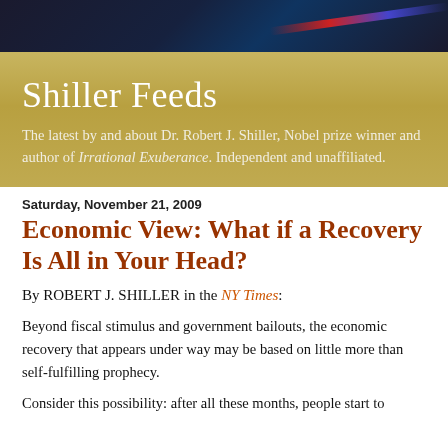[Figure (illustration): Dark blue/navy abstract header banner with red and blue diagonal streaks on right side]
Shiller Feeds
The latest by and about Dr. Robert J. Shiller, Nobel prize winner and author of Irrational Exuberance. Independent and unaffiliated.
Saturday, November 21, 2009
Economic View: What if a Recovery Is All in Your Head?
By ROBERT J. SHILLER in the NY Times:
Beyond fiscal stimulus and government bailouts, the economic recovery that appears under way may be based on little more than self-fulfilling prophecy.
Consider this possibility: after all these months, people start to